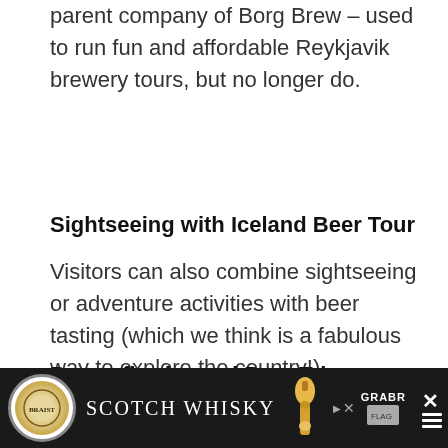parent company of Borg Brew – used to run fun and affordable Reykjavik brewery tours, but no longer do.
Sightseeing with Iceland Beer Tour
Visitors can also combine sightseeing or adventure activities with beer tasting (which we think is a fabulous way to explore the country!).
Borgarfjordur and Beer Trip
[Figure (other): Advertisement banner for Scotch Whisky at the bottom of the page, with a circular logo, bottle image, and GRABR branding with close buttons.]